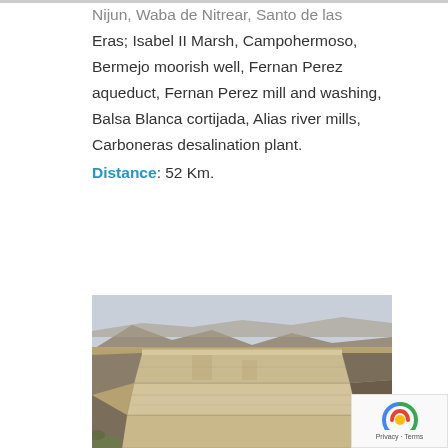Nijun, Waba de Nitrear, Santo de las Eras; Isabel II Marsh, Campohermoso, Bermejo moorish well, Fernan Perez aqueduct, Fernan Perez mill and washing, Balsa Blanca cortijada, Alias river mills, Carboneras desalination plant.
Distance: 52 Km.
[Figure (photo): Photograph of a large ancient stone dam or reservoir structure with tiered stone walls, set in an arid, rocky landscape with sparse scrub vegetation.]